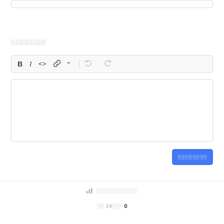[Figure (screenshot): Top input box (text field, partially visible at top of page)]
░░░░░░░░
[Figure (screenshot): Rich text editor toolbar with buttons: B (bold), I (italic), <> (code), link, quote, undo, redo]
[Figure (screenshot): Empty text editor / content area (white box with border)]
[Figure (screenshot): Blue submit button with redacted label text]
░░░░░░░░░░:
░░ 24░░:  0